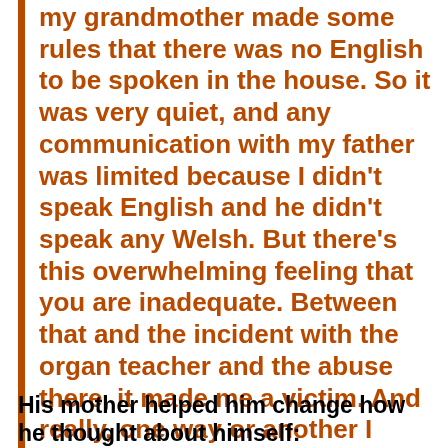my grandmother made some rules that there was no English to be spoken in the house. So it was very quiet, and any communication with my father was limited because I didn't speak English and he didn't speak any Welsh. But there's this overwhelming feeling that you are inadequate. Between that and the incident with the organ teacher and the abuse there, it made me a victim. And really, one way or another I figured out that being a victim really has repercussions all through your life. And you really do not want to be in your own mind, or in anybody's mind, as a victim.
His mother helped him change how he thought about himself: